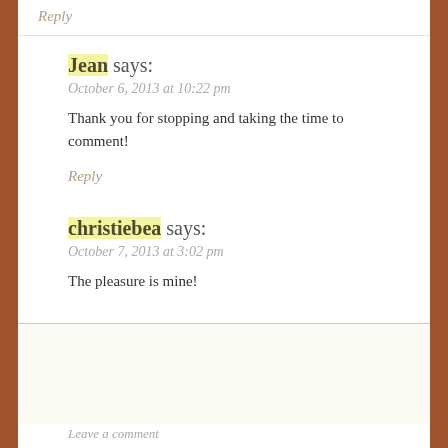Reply
Jean says:
October 6, 2013 at 10:22 pm
Thank you for stopping and taking the time to comment!
Reply
christiebea says:
October 7, 2013 at 3:02 pm
The pleasure is mine!